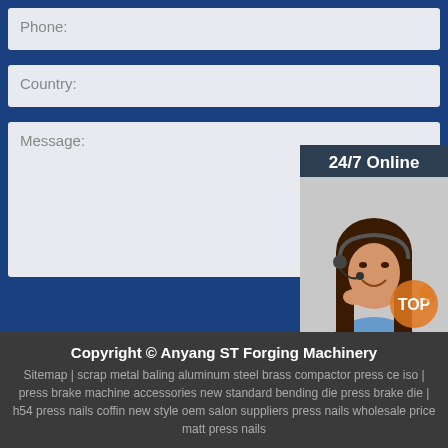Phone:
Country:
Message:
[Figure (illustration): Customer service representative woman with headset, 24/7 Online chat widget with orange QUOTATION button]
Submit Now
Copyright © Anyang ST Forging Machinery
Sitemap | scrap metal baling aluminum steel brass compactor press ce iso | press brake machine accessories new standard bending die press brake die | h54 press nails coffin new style oem salon suppliers press nails wholesale price matt press nails